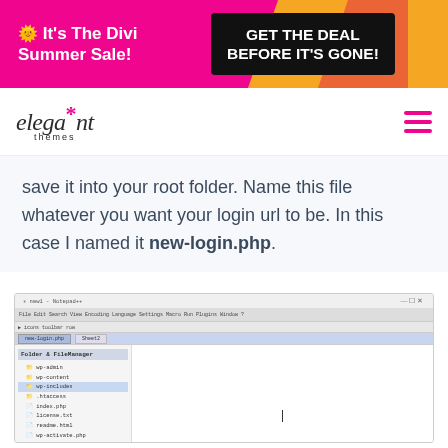[Figure (infographic): Pink promotional banner: emoji sun icon, 'It's The Divi Summer Sale!' on left, black button 'GET THE DEAL BEFORE IT'S GONE!' on right, with orange/red decorative shapes]
[Figure (logo): Elegant Themes logo: italic 'elegant' with pink asterisk, 'themes' subtitle, and pink hamburger menu icon on right]
save it into your root folder. Name this file whatever you want your login url to be. In this case I named it new-login.php.
[Figure (screenshot): Notepad++ editor screenshot showing file tree on left with new-login.php highlighted, empty editor pane on right with cursor]